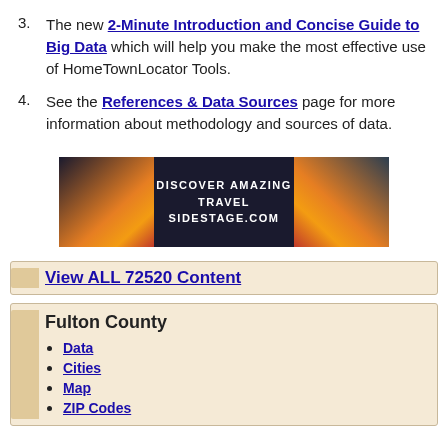3. The new 2-Minute Introduction and Concise Guide to Big Data which will help you make the most effective use of HomeTownLocator Tools.
4. See the References & Data Sources page for more information about methodology and sources of data.
[Figure (infographic): Advertisement banner for SideStage.com travel site with sunset images on left and right and text 'DISCOVER AMAZING TRAVEL SIDESTAGE.COM' in center on dark background]
View ALL 72520 Content
Fulton County
Data
Cities
Map
ZIP Codes